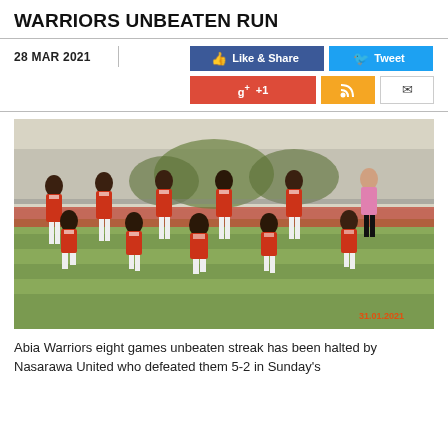WARRIORS UNBEATEN RUN
28 MAR 2021
[Figure (photo): Abia Warriors football team posed on a pitch in red and black jerseys, dated 31.01.2021]
Abia Warriors eight games unbeaten streak has been halted by Nasarawa United who defeated them 5-2 in Sunday's